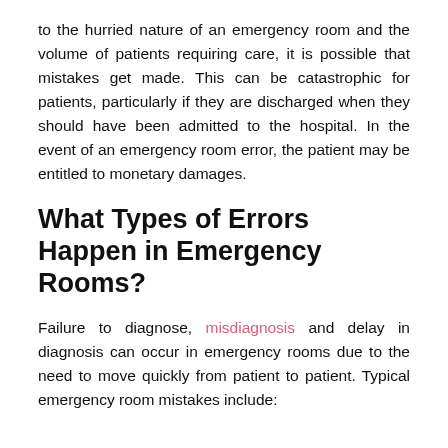to the hurried nature of an emergency room and the volume of patients requiring care, it is possible that mistakes get made. This can be catastrophic for patients, particularly if they are discharged when they should have been admitted to the hospital. In the event of an emergency room error, the patient may be entitled to monetary damages.
What Types of Errors Happen in Emergency Rooms?
Failure to diagnose, misdiagnosis and delay in diagnosis can occur in emergency rooms due to the need to move quickly from patient to patient. Typical emergency room mistakes include: